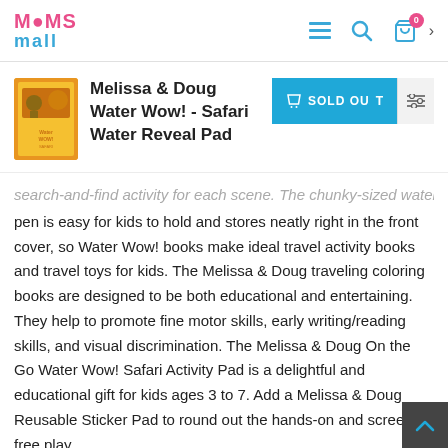Moms Mall - navigation header with logo, hamburger menu, search, and cart icons
Melissa & Doug Water Wow! - Safari Water Reveal Pad
[Figure (photo): Product image of Melissa & Doug Water Wow Safari book with orange cover]
SOLD OUT
search-and-find activity for each scene. The chunky-sized water pen is easy for kids to hold and stores neatly right in the front cover, so Water Wow! books make ideal travel activity books and travel toys for kids. The Melissa & Doug traveling coloring books are designed to be both educational and entertaining. They help to promote fine motor skills, early writing/reading skills, and visual discrimination. The Melissa & Doug On the Go Water Wow! Safari Activity Pad is a delightful and educational gift for kids ages 3 to 7. Add a Melissa & Doug Reusable Sticker Pad to round out the hands-on and screen-free play